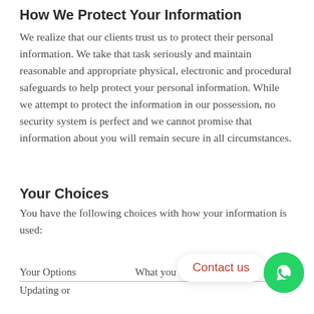How We Protect Your Information
We realize that our clients trust us to protect their personal information. We take that task seriously and maintain reasonable and appropriate physical, electronic and procedural safeguards to help protect your personal information. While we attempt to protect the information in our possession, no security system is perfect and we cannot promise that information about you will remain secure in all circumstances.
Your Choices
You have the following choices with how your information is used:
| Your Options | What you need to do |
| --- | --- |
| Updating or |  |